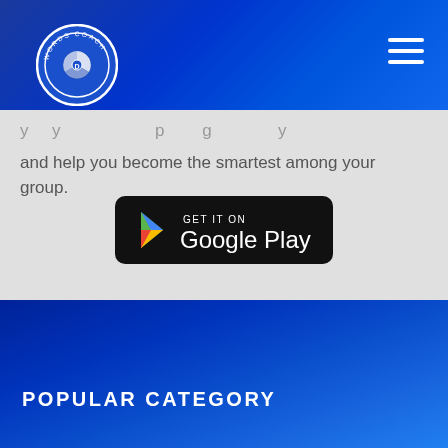Words Coach
and help you become the smartest among your group.
[Figure (logo): Google Play Store download button with play icon triangle and text GET IT ON Google Play on black rounded rectangle background]
POPULAR CATEGORY